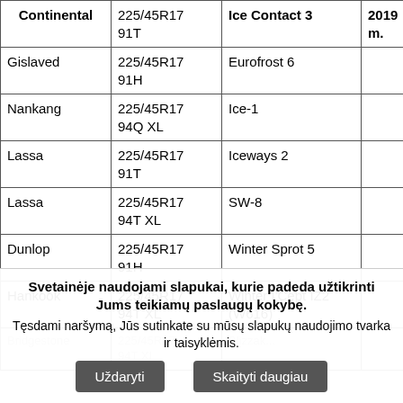|  | 225/45R17 91T | Ice Contact 3 | 2019 m. | dygliuot |
| --- | --- | --- | --- | --- |
| Continental | 225/45R17 91T | Ice Contact 3 | 2019 m. | dygliuot |
| Gislaved | 225/45R17 91H | Eurofrost 6 |  |  |
| Nankang | 225/45R17 94Q XL | Ice-1 |  |  |
| Lassa | 225/45R17 91T | Iceways 2 |  | dygliuot |
| Lassa | 225/45R17 94T XL | SW-8 |  | dygliuot |
| Dunlop | 225/45R17 91H | Winter Sprot 5 |  |  |
| Hankook | 225/45R17 94T XL | Winter I'Cept IZ2 (W616) |  |  |
| ... | 225/45R17... | ... |  |  |
Svetainėje naudojami slapukai, kurie padeda užtikrinti Jums teikiamų paslaugų kokybę. Tęsdami naršymą, Jūs sutinkate su mūsų slapukų naudojimo tvarka ir taisyklėmis.